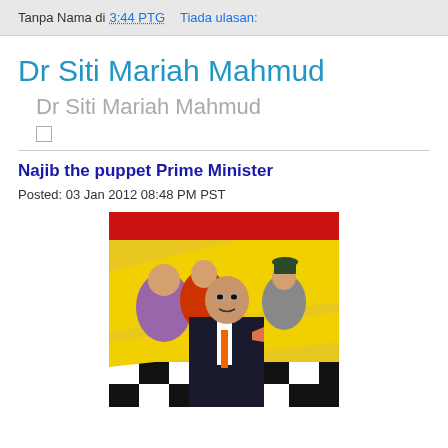Tanpa Nama di 3:44 PTG   Tiada ulasan:
Dr Siti Mariah Mahmud
Dr Siti Mariah Mahmud
Najib the puppet Prime Minister
Posted: 03 Jan 2012 08:48 PM PST
[Figure (photo): Political collage image showing multiple figures including a man in a suit in foreground, other people behind, with red, yellow and black/white checkered background elements]